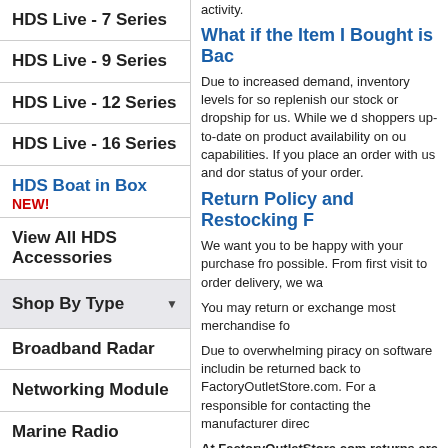HDS Live - 7 Series
HDS Live - 9 Series
HDS Live - 12 Series
HDS Live - 16 Series
HDS Boat in Box NEW!
View All HDS Accessories
Shop By Type
Broadband Radar
Networking Module
Marine Radio
AutoPilot
activity.
What if the Item I Bought is Bac
Due to increased demand, inventory levels for so replenish our stock or dropship for us. While we shoppers up-to-date on product availability on ou capabilities. If you place an order with us and dor status of your order.
Return Policy and Restocking F
We want you to be happy with your purchase fro possible. From first visit to order delivery, we wa
You may return or exchange most merchandise fo
Due to overwhelming piracy on software includin be returned back to FactoryOutletStore.com. For responsible for contacting the manufacturer direc
At FactoryOutletStore.com returns are easy. B Returns are subject to a 15% restocking fee pl refund.
Factory Serviced items are exchangeable for a rep
Bulk Packaged items have a 90-Day EXCHANG ANY reason associated with these products.
All to